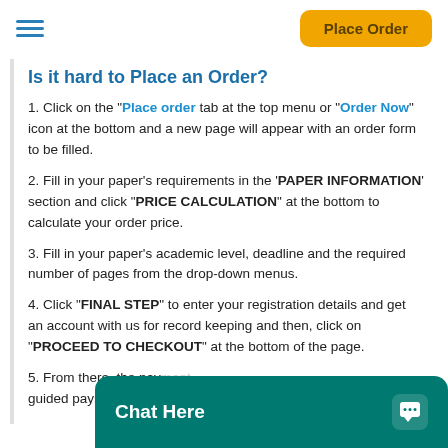Place Order
Is it hard to Place an Order?
1. Click on the "Place order tab at the top menu or "Order Now" icon at the bottom and a new page will appear with an order form to be filled.
2. Fill in your paper's requirements in the "PAPER INFORMATION" section and click "PRICE CALCULATION" at the bottom to calculate your order price.
3. Fill in your paper's academic level, deadline and the required number of pages from the drop-down menus.
4. Click "FINAL STEP" to enter your registration details and get an account with us for record keeping and then, click on "PROCEED TO CHECKOUT" at the bottom of the page.
5. From there, the pa... guided payment proc...